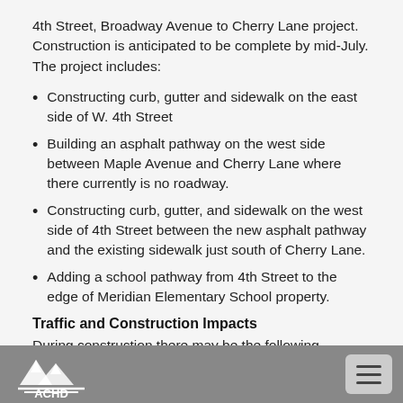4th Street, Broadway Avenue to Cherry Lane project. Construction is anticipated to be complete by mid-July. The project includes:
Constructing curb, gutter and sidewalk on the east side of W. 4th Street
Building an asphalt pathway on the west side between Maple Avenue and Cherry Lane where there currently is no roadway.
Constructing curb, gutter, and sidewalk on the west side of 4th Street between the new asphalt pathway and the existing sidewalk just south of Cherry Lane.
Adding a school pathway from 4th Street to the edge of Meridian Elementary School property.
Traffic and Construction Impacts
During construction there may be the following impacts: general construction noise, dust, equipment back up
ACHD logo and navigation menu